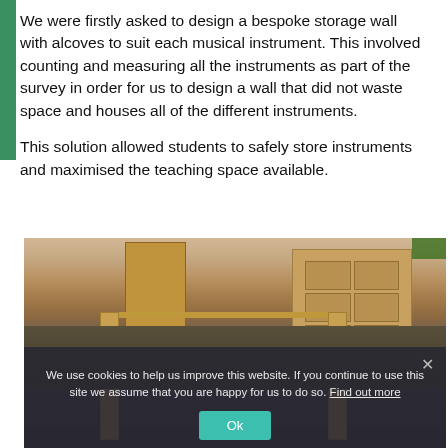We were firstly asked to design a bespoke storage wall with alcoves to suit each musical instrument. This involved counting and measuring all the instruments as part of the survey in order for us to design a wall that did not waste space and houses all of the different instruments.
This solution allowed students to safely store instruments and maximised the teaching space available.
[Figure (photo): Interior photo of a music room showing wooden furniture including storage shelves, a tall cabinet, a table/music stand in the foreground with blue surfaces. A cookie consent overlay covers the lower portion of the image with text and an 'Ok' button.]